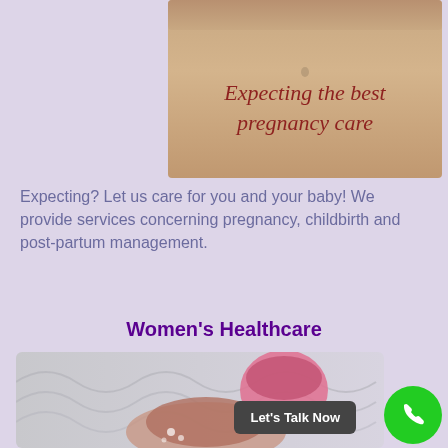[Figure (photo): Close-up photo of a pregnant woman's belly with cursive text overlay reading 'Expecting the best pregnancy care' in red/maroon color]
Expecting? Let us care for you and your baby! We provide services concerning pregnancy, childbirth and post-partum management.
Women's Healthcare
[Figure (illustration): Medical illustration of female reproductive anatomy / cross-section, with a pink/knitted cap visible, on a gray wavy background]
Let's Talk Now